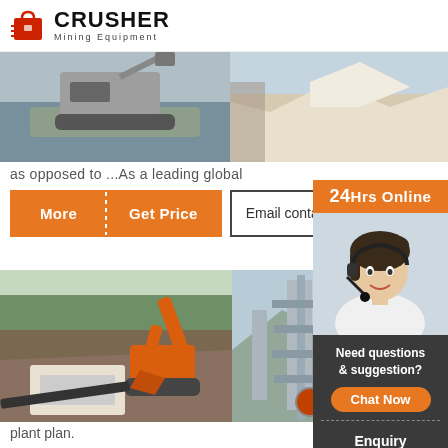[Figure (logo): Crusher Mining Equipment logo with red shopping bag icon and bold black text CRUSHER, subtitle Mining Equipment]
[Figure (photo): Two side-by-side photos: left shows mining crusher machinery with gravel/rocks and excavator tracks; right shows white/beige sand or mineral pile]
as opposed to ...As a leading global
More | Get Price
Email conta
24Hrs Online
[Figure (photo): Woman with headset smiling - customer support representative]
Need questions & suggestion?
Chat Now
Enquiry
mumumugoods@gmail.com
[Figure (photo): Two side-by-side photos: left shows orange excavator/crusher at mining site with trees; right shows industrial plant/tower structure]
plant plan.